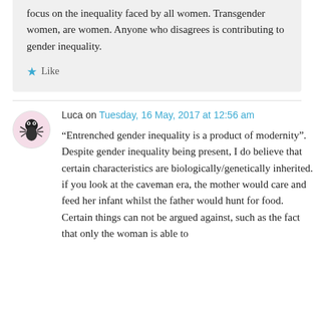focus on the inequality faced by all women. Transgender women, are women. Anyone who disagrees is contributing to gender inequality.
★ Like
Luca on Tuesday, 16 May, 2017 at 12:56 am
“Entrenched gender inequality is a product of modernity”. Despite gender inequality being present, I do believe that certain characteristics are biologically/genetically inherited. if you look at the caveman era, the mother would care and feed her infant whilst the father would hunt for food. Certain things can not be argued against, such as the fact that only the woman is able to